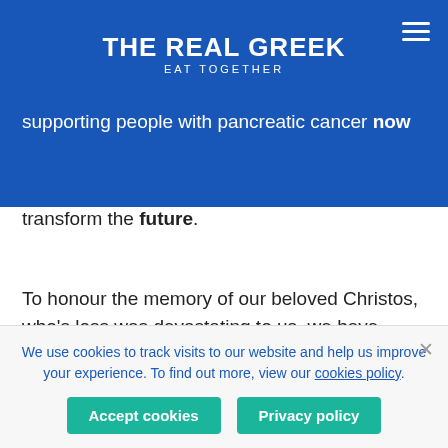THE REAL GREEK / EAT TOGETHER
All that said, there is still hope. Pancreatic Cancer UK is the only UK charity taking on this injustice using every possible means. They are supporting people with pancreatic cancer now through its specialist nurse run Support Line, but also campaigning and funding vital research to transform the future.
To honour the memory of our beloved Christos, who's loss was devastating to us, we have partnered with Pancreatic Cancer UK. A new dish has been added to our menu, a delicious Pork Skewer- which was Christo's favourite Greek delicacy – from which, 25p from each dish sold will be donated directly to this
We use cookies to track visits to our website and help us improve your experience. To find out more, view our cookies policy.
Accept cookies
Privacy policy